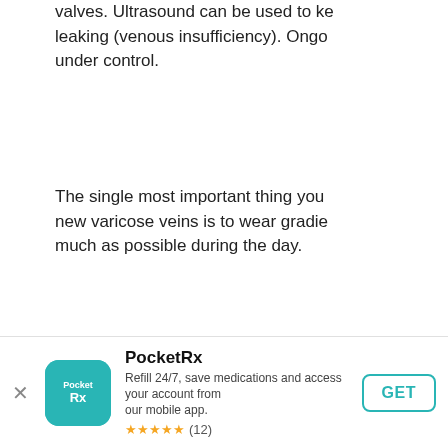valves. Ultrasound can be used to ke leaking (venous insufficiency). Ongo under control.
The single most important thing you new varicose veins is to wear gradie much as possible during the day.
Medications:    Sodium Tetradecyl Sulf
[Figure (illustration): Accessibility icon button — person in circle, teal border]
Contributors
[Figure (photo): Photo of Beth Bolt, R.Ph. — woman with brown hair smiling, blue-grey gradient background]
Beth Bolt, R.Ph.
Beth Bolt, RPh joine with over 15 years o
PocketRx
Refill 24/7, save medications and access your account from our mobile app.
★★★★★ (12)